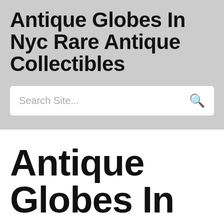Antique Globes In Nyc Rare Antique Collectibles
Search Site...
Antique Globes In